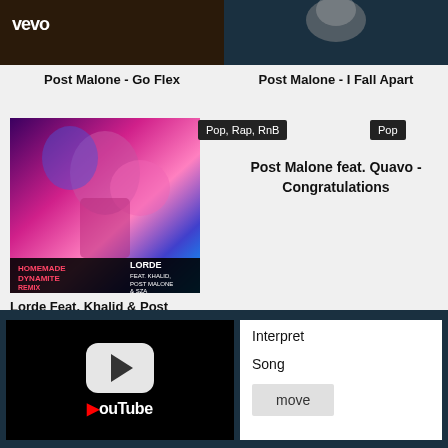[Figure (screenshot): Vevo video thumbnail - dark brownish background with vevo logo]
[Figure (screenshot): Post Malone I Fall Apart video thumbnail - dark teal background]
Post Malone - Go Flex
Post Malone - I Fall Apart
[Figure (photo): Lorde Homemade Dynamite Remix album art - colorful psychedelic art with pink/blue tones, text overlay showing HOMEMADE DYNAMITE REMIX and LORDE FEAT. KHALID, POST MALONE & SZA]
Pop, Rap, RnB
Pop
Post Malone feat. Quavo - Congratulations
Lorde Feat. Khalid & Post Malone & SZA - Homemade
[Figure (screenshot): YouTube player placeholder with play button icon and YouTube wordmark on black background]
Interpret
Song
move